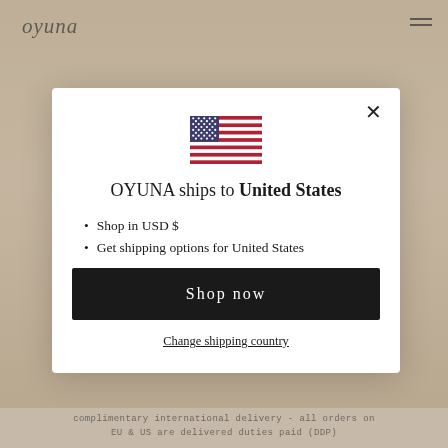[Figure (screenshot): Background website screenshot showing Oyuna fashion brand page with tan/beige clothing model photo, logo top-left, hamburger menu top-right]
[Figure (infographic): Modal dialog popup: country shipping selector for OYUNA brand website showing US flag, heading 'OYUNA ships to United States', bullet points, Shop now button, and Change shipping country link]
complimentary international delivery - all orders on EU & US are delivered duties paid (DDP)